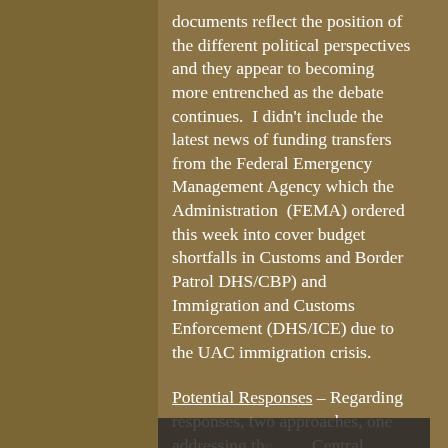documents reflect the position of the different political perspectives and they appear to becoming more entrenched as the debate continues.  I didn't include the latest news of funding transfers from the Federal Emergency Management Agency which the Administration  (FEMA) ordered this week into cover budget shortfalls in Customs and Border Patrol DHS/CBP) and Immigration and Customs Enforcement (DHS/ICE) due to the UAC immigration crisis.
Potential Responses - Regarding responses, two approaches, one addressing the Central